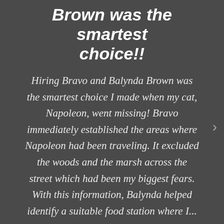Brown was the smartest choice!!
Hiring Bravo and Balynda Brown was the smartest choice I made when my cat, Napoleon, went missing!  Bravo immediately established the areas where Napoleon had been traveling.  It excluded the woods and the marsh across the street which had been my biggest fears.  With this information, Balynda helped identify a suitable food station where I...